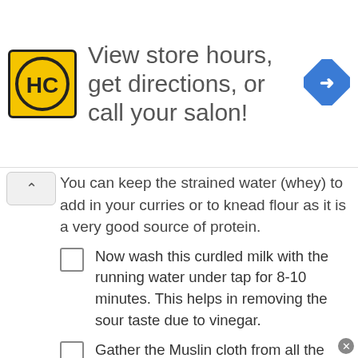[Figure (logo): HC salon logo and ad banner: View store hours, get directions, or call your salon!]
You can keep the strained water (whey) to add in your curries or to knead flour as it is a very good source of protein.
Now wash this curdled milk with the running water under tap for 8-10 minutes. This helps in removing the sour taste due to vinegar.
Gather the Muslin cloth from all the corners and squeeze the extra water gently. Don't squeeze hard otherwise the curdled milk will also come out with water.
Now hang this for 30 minutes so that extra water present will also drop down.
After 30 minutes, take out the curdled milk onto a plate. Your chenna is ready. This would be little…